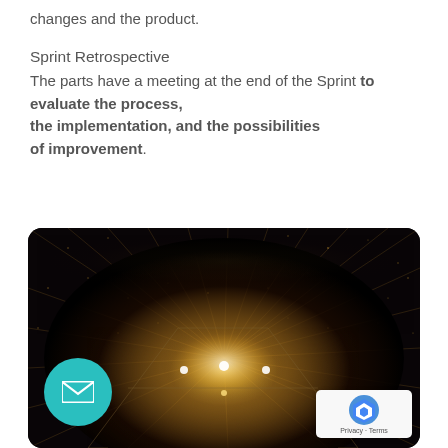changes and the product.
Sprint Retrospective
The parts have a meeting at the end of the Sprint to evaluate the process, the implementation, and the possibilities of improvement.
[Figure (photo): Dark room or data center interior with radiating light beams and glowing dots forming starburst pattern, warm golden light in center]
Privacy · Terms